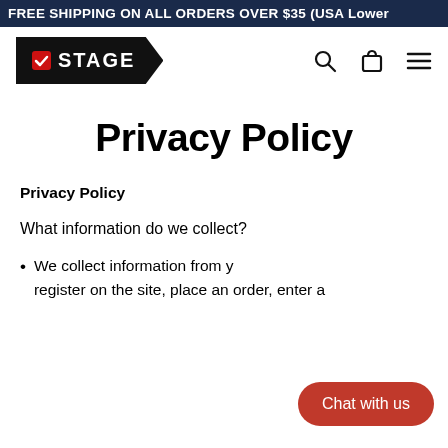FREE SHIPPING ON ALL ORDERS OVER $35 (USA Lower
[Figure (logo): Stage store logo — black chevron shape with white checkmark icon and STAGE text]
Privacy Policy
Privacy Policy
What information do we collect?
We collect information from y... register on the site, place an order, enter a